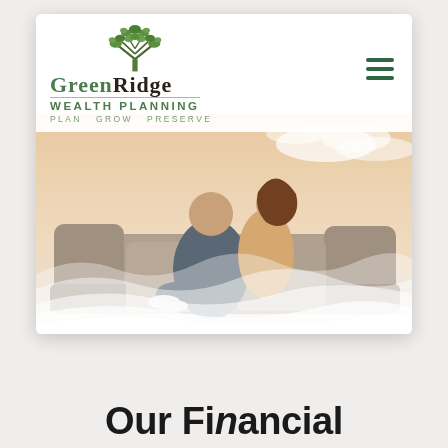[Figure (screenshot): Screenshot of GreenRidge Wealth Planning website showing logo with tree icon, navigation bar with hamburger menu, and hero image of a couple sitting on outdoor sofa with wave overlay graphic]
Our Financial